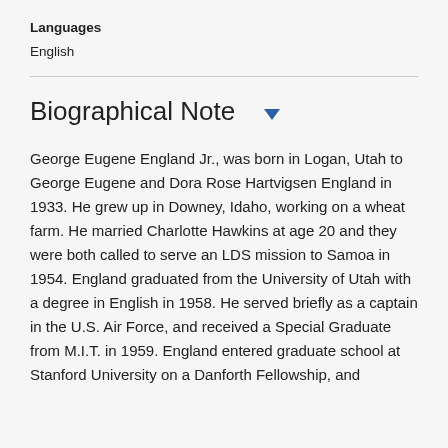Languages
English
Biographical Note
George Eugene England Jr., was born in Logan, Utah to George Eugene and Dora Rose Hartvigsen England in 1933. He grew up in Downey, Idaho, working on a wheat farm. He married Charlotte Hawkins at age 20 and they were both called to serve an LDS mission to Samoa in 1954. England graduated from the University of Utah with a degree in English in 1958. He served briefly as a captain in the U.S. Air Force, and received a Special Graduate from M.I.T. in 1959. England entered graduate school at Stanford University on a Danforth Fellowship, and